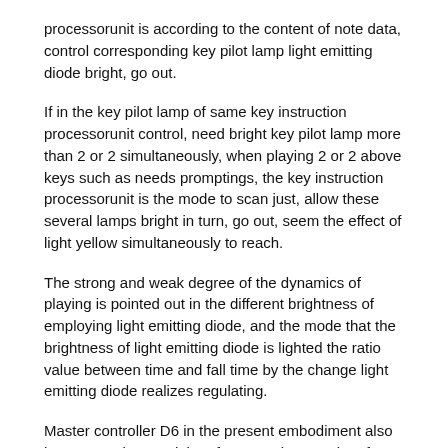processorunit is according to the content of note data, control corresponding key pilot lamp light emitting diode bright, go out.
If in the key pilot lamp of same key instruction processorunit control, need bright key pilot lamp more than 2 or 2 simultaneously, when playing 2 or 2 above keys such as needs promptings, the key instruction processorunit is the mode to scan just, allow these several lamps bright in turn, go out, seem the effect of light yellow simultaneously to reach.
The strong and weak degree of the dynamics of playing is pointed out in the different brightness of employing light emitting diode, and the mode that the brightness of light emitting diode is lighted the ratio value between time and fall time by the change light emitting diode realizes regulating.
Master controller D6 in the present embodiment also has external network interface, can be USB interface, and perhaps the network interface card interface can link by network interface and internet, computer, from the Internet download the different piano music data of renewal...